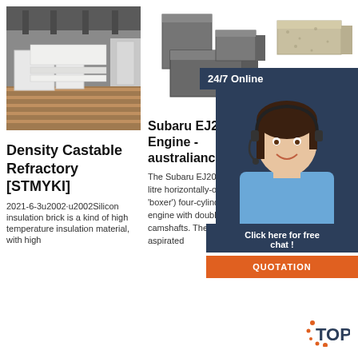[Figure (photo): Industrial warehouse with white insulation brick/panel materials stacked on shelving]
Density Castable Refractory [STMYKI]
2021-6-3u2002·u2002Silicon insulation brick is a kind of high temperature insulation material, with high
[Figure (photo): Three grey/dark metal or refractory brick blocks of different sizes]
Subaru EJ204 Engine - australiancar.reviews
The Subaru EJ204 was a 2.0-litre horizontally-opposed (or 'boxer') four-cylinder petrol engine with double overhead camshafts. The naturally aspirated
[Figure (photo): Beige/tan porous refractory brick block]
Full M
2021-1-21u20 memb IDM is resear are ful committed to conducting their research in the IDM, preferably accommodated in the IDM ...
[Figure (photo): 24/7 Online customer service agent - woman with headset smiling]
24/7 Online
Click here for free chat !
QUOTATION